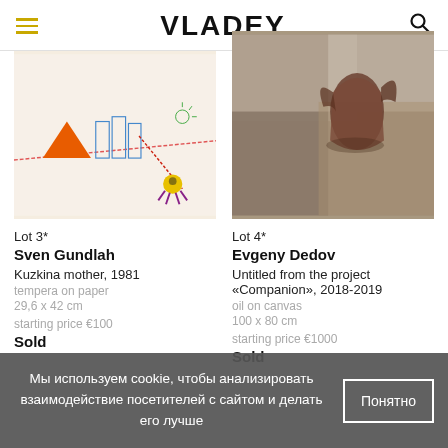VLADEY
[Figure (photo): Artwork by Sven Gundlah - Kuzkina mother, 1981, tempera on paper, colorful drawing with industrial structures and abstract creatures on a white background]
[Figure (photo): Artwork by Evgeny Dedov - Untitled from the project Companion, 2018-2019, oil on canvas, abstract figure in brown tones on grey background]
Lot 3*
Sven Gundlah
Kuzkina mother, 1981
tempera on paper
29,6 x 42 cm
starting price €100
Sold
Lot 4*
Evgeny Dedov
Untitled from the project «Companion», 2018-2019
oil on canvas
100 x 80 cm
starting price €1000
Sold
Мы используем cookie, чтобы анализировать взаимодействие посетителей с сайтом и делать его лучше
Понятно